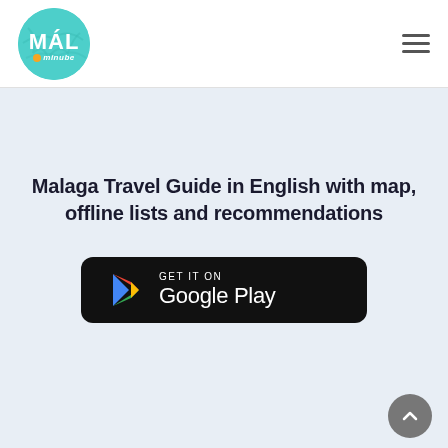[Figure (logo): MÁL minube circular teal logo with map background]
[Figure (other): Hamburger menu icon (three horizontal lines)]
Malaga Travel Guide in English with map, offline lists and recommendations
[Figure (other): Get it on Google Play badge - black rounded rectangle with Google Play logo and text]
[Figure (other): Scroll to top button - grey circle with upward chevron arrow]